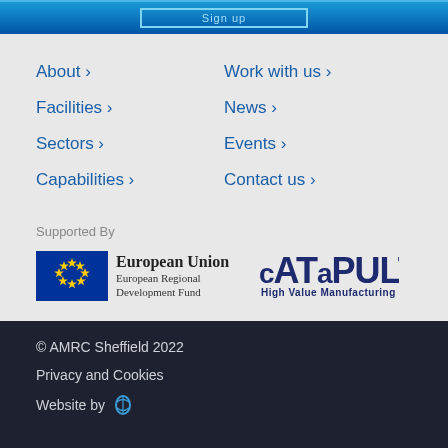Sign up
About ›
Facilities ›
Sectors ›
Capabilities ›
Work with us ›
News ›
Events ›
Contact us ›
Supported By
[Figure (logo): European Union European Regional Development Fund logo with EU flag]
[Figure (logo): CATAPULT High Value Manufacturing logo]
© AMRC Sheffield 2022
Privacy and Cookies
Website by [leaf icon logo]